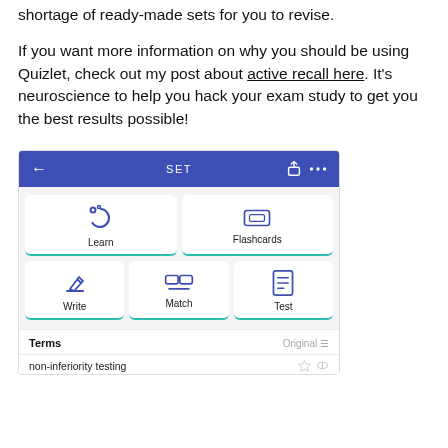shortage of ready-made sets for you to revise.
If you want more information on why you should be using Quizlet, check out my post about active recall here. It's neuroscience to help you hack your exam study to get you the best results possible!
[Figure (screenshot): Screenshot of the Quizlet app showing the SET screen with study modes: Learn, Flashcards, Write, Match, Test. Below is a Terms section showing 'non-inferiority testing' as a term entry.]